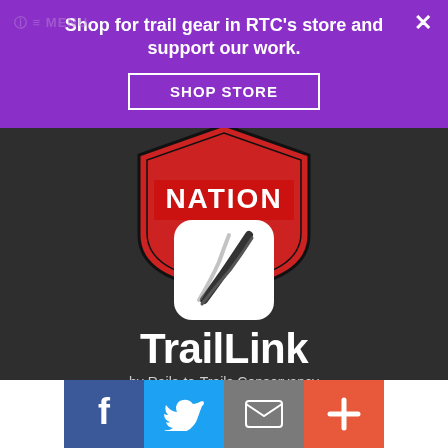[Figure (screenshot): Purple promotional banner overlay with text 'Shop for trail gear in RTC's store and support our work.' and a SHOP STORE button, with close X and menu icon]
[Figure (logo): TrailLink app logo: white rounded square icon with trail/road path graphic, bold white TrailLink wordmark, subtitle 'by Rails-to-Trails Conservancy' on dark background]
[Figure (illustration): Red badge/shield with star on dark background, partially visible behind banner]
[Figure (infographic): Social share buttons row: Facebook (blue, f), Twitter (light blue, bird), Email (grey, envelope), More (orange, plus)]